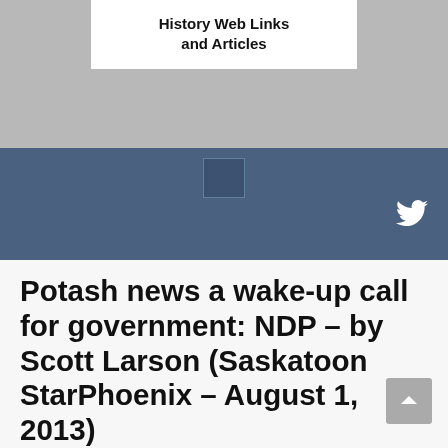History Web Links and Articles
Potash news a wake-up call for government: NDP – by Scott Larson (Saskatoon StarPhoenix – August 1, 2013)
August 6, 2013
http://www.thestarphoenix.com/index.html